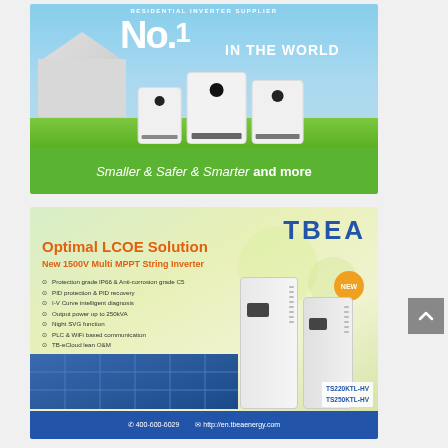[Figure (photo): Advertisement for residential solar inverter supplier. Top background shows sky, house, and solar inverters. Green banner at bottom reads 'Smaller & Safer & Smarter and more'. Header says 'RESIDENTIAL INVERTER SUPPLIER' and 'No.1 IN THE WORLD'.]
[Figure (photo): TBEA advertisement for Optimal LCOE Solution - New 1500V Multi MPPT String Inverter. Features green bokeh background, product images of TS220KTL-HV and TS250KTL-HV inverters, feature bullet list, blue bottom bar with contact info: 400-600-6029 and http://en.tbeaenergy.com]